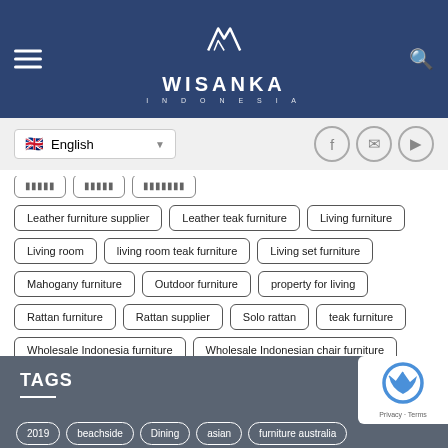WISANKA INDONESIA
English (language selector)
Leather furniture supplier
Leather teak furniture
Living furniture
Living room
living room teak furniture
Living set furniture
Mahogany furniture
Outdoor furniture
property for living
Rattan furniture
Rattan supplier
Solo rattan
teak furniture
Wholesale Indonesia furniture
Wholesale Indonesian chair furniture
Wholesale leather furniture
wooden furniture
TAGS
2019
beachside
Dining
asian
furniture australia